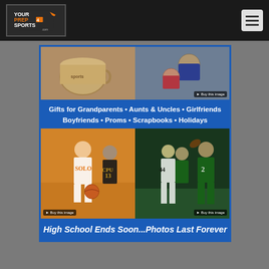YourPrepSports.com
[Figure (photo): YourPrepSports.com logo on dark header bar with menu icon]
[Figure (photo): Advertisement banner showing sports photos - mug with wrestling photo, wrestling match, basketball girl dribbling, football players. Text: Gifts for Grandparents • Aunts & Uncles • Girlfriends Boyfriends • Proms • Scrapbooks • Holidays. High School Ends Soon...Photos Last Forever]